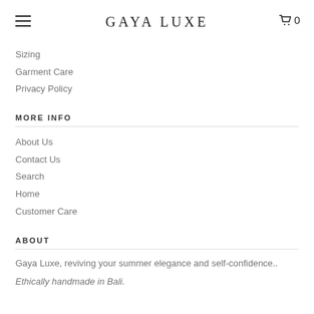GAYA LUXE
Sizing
Garment Care
Privacy Policy
MORE INFO
About Us
Contact Us
Search
Home
Customer Care
ABOUT
Gaya Luxe, reviving your summer elegance and self-confidence..
Ethically handmade in Bali.